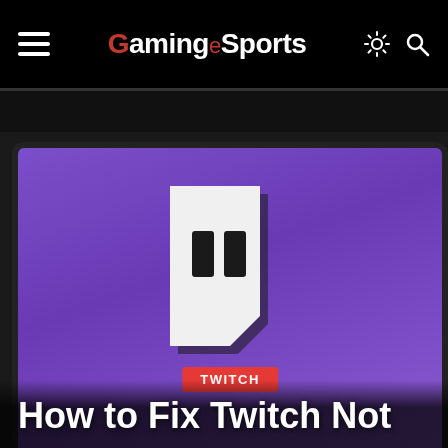GamingeSports
[Figure (screenshot): Laptop screen showing the Twitch logo (white speech bubble with two rectangles forming eyes) on a purple gradient background. A red badge reads 'TWITCH'. Below the image is the beginning of an article title: 'How to Fix Twitch Not']
How to Fix Twitch Not